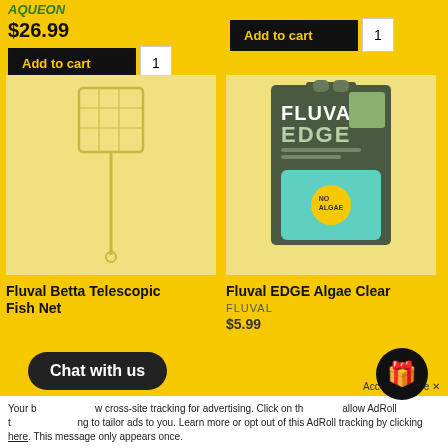AQUEON
$26.99
Add to cart  1
Add to cart  1
[Figure (photo): Fluval Betta Telescopic Fish Net product image on yellow background]
[Figure (photo): Fluval EDGE Algae Clear product in packaging on yellow background]
Fluval Betta Telescopic Fish Net
Fluval EDGE Algae Clear
FLUVAL
$5.99
Chat with us
Your browser settings do not allow cross-site tracking for advertising. Click on the button to allow AdRoll to use cross-site tracking to tailor ads to you. Learn more or opt out of this AdRoll tracking by clicking here. This message only appears once.